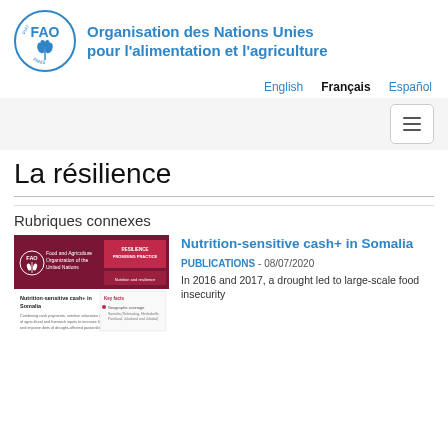[Figure (logo): FAO logo - circular blue logo with wheat motif and text FAO, FIAT PANIS, alongside Organisation des Nations Unies pour l'alimentation et l'agriculture in blue]
English  Français  Español
La résilience
Rubriques connexes
[Figure (screenshot): Thumbnail image showing FAO publication cover: Nutrition-sensitive cash+ in Somalia, dark red/maroon background with RESILIENCE PROMISING PRACTICE label]
Nutrition-sensitive cash+ in Somalia
PUBLICATIONS - 08/07/2020
In 2016 and 2017, a drought led to large-scale food insecurity